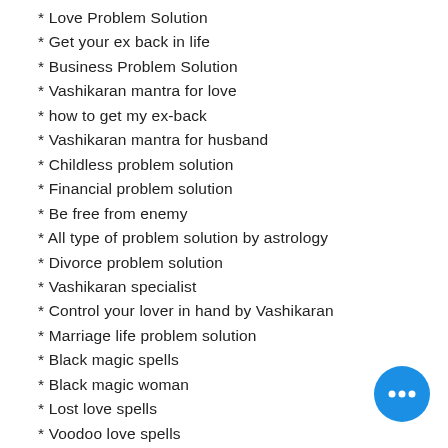* Love Problem Solution
* Get your ex back in life
* Business Problem Solution
* Vashikaran mantra for love
* how to get my ex-back
* Vashikaran mantra for husband
* Childless problem solution
* Financial problem solution
* Be free from enemy
* All type of problem solution by astrology
* Divorce problem solution
* Vashikaran specialist
* Control your lover in hand by Vashikaran
* Marriage life problem solution
* Black magic spells
* Black magic woman
* Lost love spells
* Voodoo love spells
* Voodoo doll for love attraction
* Vahikaran specialist astrologer
* Powerful Vashikaran Shabari mantra
* Powerful money spells
* Lottery no. specialist